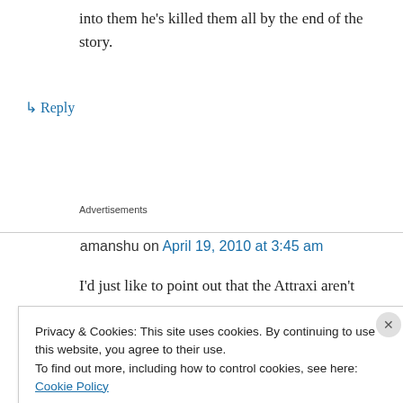into them he's killed them all by the end of the story.
↳ Reply
Advertisements
amanshu on April 19, 2010 at 3:45 am
I'd just like to point out that the Attraxi aren't
Privacy & Cookies: This site uses cookies. By continuing to use this website, you agree to their use.
To find out more, including how to control cookies, see here: Cookie Policy
Close and accept